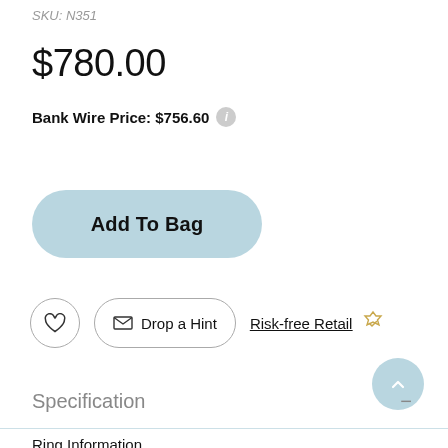SKU: N351
$780.00
Bank Wire Price: $756.60
Add To Bag
Drop a Hint
Risk-free Retail
Specification
Ring Information